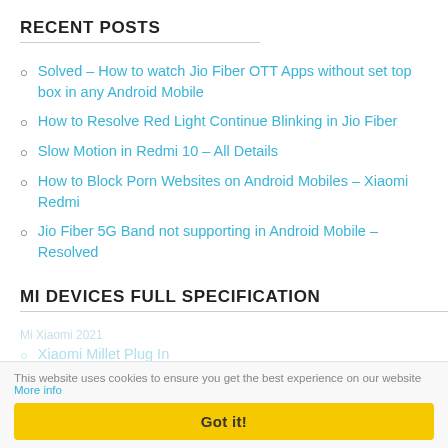RECENT POSTS
Solved – How to watch Jio Fiber OTT Apps without set top box in any Android Mobile
How to Resolve Red Light Continue Blinking in Jio Fiber
Slow Motion in Redmi 10 – All Details
How to Block Porn Websites on Android Mobiles – Xiaomi Redmi
Jio Fiber 5G Band not supporting in Android Mobile – Resolved
MI DEVICES FULL SPECIFICATION
This website uses cookies to ensure you get the best experience on our website More info
Xiaomi Millet Plug In
Got it!